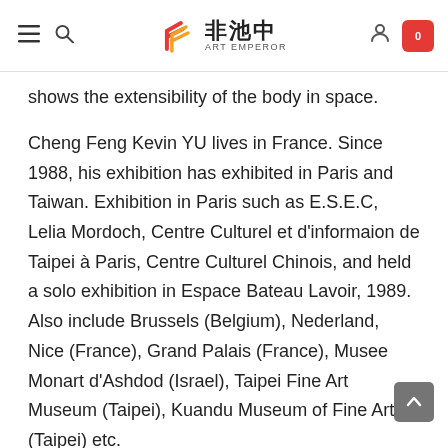Art Emperor — navigation bar with logo 非池中 ART EMPEROR, hamburger menu, search, user icon, cart (0)
shows the extensibility of the body in space.
Cheng Feng Kevin YU lives in France. Since 1988, his exhibition has exhibited in Paris and Taiwan. Exhibition in Paris such as E.S.E.C, Lelia Mordoch, Centre Culturel et d'informaion de Taipei à Paris, Centre Culturel Chinois, and held a solo exhibition in Espace Bateau Lavoir, 1989. Also include Brussels (Belgium), Nederland, Nice (France), Grand Palais (France), Musee Monart d'Ashdod (Israel), Taipei Fine Art Museum (Taipei), Kuandu Museum of Fine Arts (Taipei) etc.